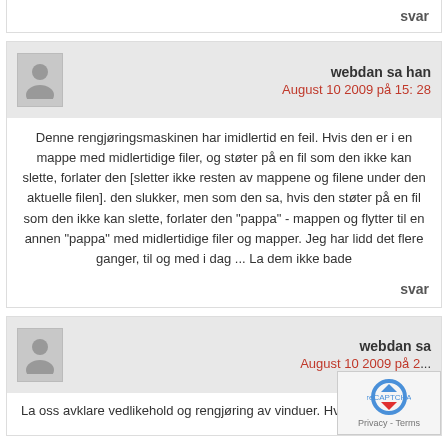svar
webdan sa han
August 10 2009 på 15: 28
Denne rengjøringsmaskinen har imidlertid en feil. Hvis den er i en mappe med midlertidige filer, og støter på en fil som den ikke kan slette, forlater den [sletter ikke resten av mappene og filene under den aktuelle filen]. den slukker, men som den sa, hvis den støter på en fil som den ikke kan slette, forlater den "pappa" - mappen og flytter til en annen "pappa" med midlertidige filer og mapper. Jeg har lidd det flere ganger, til og med i dag ... La dem ikke bade
svar
webdan sa
August 10 2009 på 2...
La oss avklare vedlikehold og rengjøring av vinduer. Hvis du nar